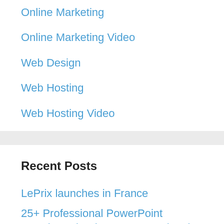Online Marketing
Online Marketing Video
Web Design
Web Hosting
Web Hosting Video
Recent Posts
LePrix launches in France
25+ Professional PowerPoint Templates (And How to Use Them)
SEO: How to Assess Keyword Difficulty
CorelDRAW vs. Illustrator: Pros & Cons